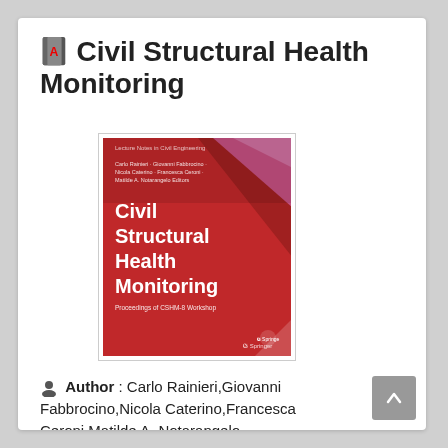Civil Structural Health Monitoring
[Figure (photo): Book cover of 'Civil Structural Health Monitoring - Proceedings of CSHM-8 Workshop', Lecture Notes in Civil Engineering, Springer. Authors: Carlo Rainieri, Giovanni Fabbrocino, Nicola Caterino, Francesca Ceroni, Matilde A. Notarangelo. Red cover with white title text and Springer logo.]
Author : Carlo Rainieri,Giovanni Fabbrocino,Nicola Caterino,Francesca Ceroni,Matilde A. Notarangelo
Publisher : Springer Nature